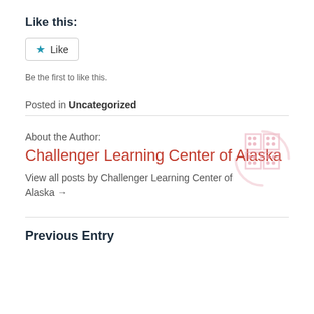Like this:
★ Like
Be the first to like this.
Posted in Uncategorized
About the Author:
Challenger Learning Center of Alaska
View all posts by Challenger Learning Center of Alaska →
[Figure (logo): Challenger Learning Center of Alaska logo — pink/rose colored geometric grid-sphere icon]
Previous Entry